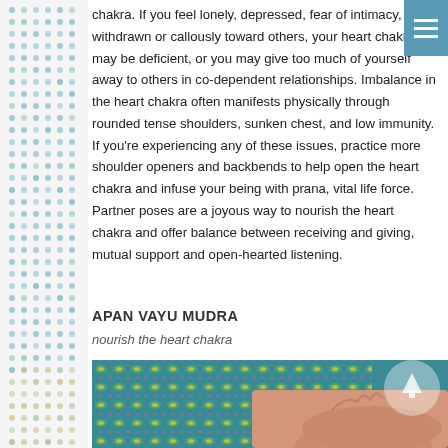chakra. If you feel lonely, depressed, fear of intimacy, are withdrawn or callously toward others, your heart chakra may be deficient, or you may give too much of yourself away to others in co-dependent relationships. Imbalance in the heart chakra often manifests physically through rounded tense shoulders, sunken chest, and low immunity. If you're experiencing any of these issues, practice more shoulder openers and backbends to help open the heart chakra and infuse your being with prana, vital life force. Partner poses are a joyous way to nourish the heart chakra and offer balance between receiving and giving, mutual support and open-hearted listening.
APAN VAYU MUDRA
nourish the heart chakra
[Figure (photo): A hand performing Apan Vayu Mudra (a yoga hand gesture) against a teal/green patterned textile background with geometric floral motifs. A semi-transparent circular scroll-up button with an upward arrow is visible in the upper right corner of the image.]